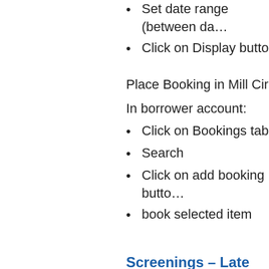Set date range (between da…
Click on Display button
Place Booking in Mill Circ
In borrower account:
Click on Bookings tab
Search
Click on add booking butto…
book selected item
Screenings – Late Even…
Print Media Bookings slips
Pull and prepare materials
Check for any changes to t… titles on one line) and take…